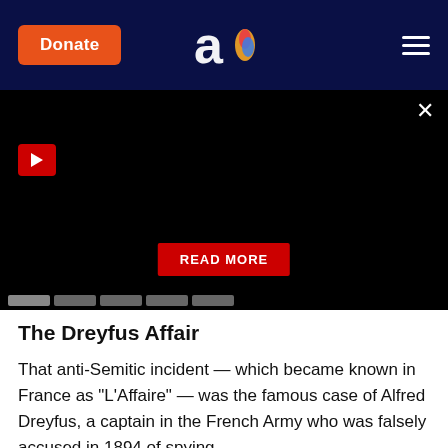Donate | Aish logo | Navigation menu
[Figure (screenshot): Black video panel with red play button, READ MORE button, and scrubber bar at bottom]
The Dreyfus Affair
That anti-Semitic incident — which became known in France as "L'Affaire" — was the famous case of Alfred Dreyfus, a captain in the French Army who was falsely accused in 1894 of spying.
The actual spy was not a Jew — one Major Esterhazy — but even though this fact was discovered in 1896, the French army ignored or suppressed the evidence